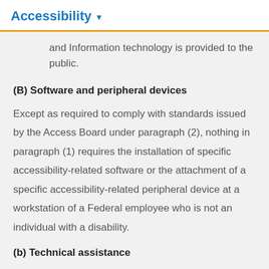Accessibility
and Information technology is provided to the public.
(B) Software and peripheral devices
Except as required to comply with standards issued by the Access Board under paragraph (2), nothing in paragraph (1) requires the installation of specific accessibility-related software or the attachment of a specific accessibility-related peripheral device at a workstation of a Federal employee who is not an individual with a disability.
(b) Technical assistance
The Administrator of General Services and the Access Board shall provide technical assistance to individuals